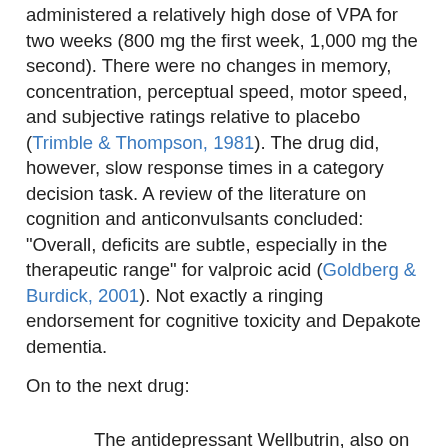administered a relatively high dose of VPA for two weeks (800 mg the first week, 1,000 mg the second). There were no changes in memory, concentration, perceptual speed, motor speed, and subjective ratings relative to placebo (Trimble & Thompson, 1981). The drug did, however, slow response times in a category decision task. A review of the literature on cognition and anticonvulsants concluded: "Overall, deficits are subtle, especially in the therapeutic range" for valproic acid (Goldberg & Burdick, 2001). Not exactly a ringing endorsement for cognitive toxicity and Depakote dementia.
On to the next drug:
The antidepressant Wellbutrin, also on the CENTCOM formulary, likely poses a long-term risk of Parkinson's disease, especially for older troops, said Jackson, author of Drug-Induced Dementia: A Perfect Crime (AuthorHouse, 2009).
5. I found no published, peer-reviewed evidence that the antidepressant Wellbutrin (bupropion) increases the long-